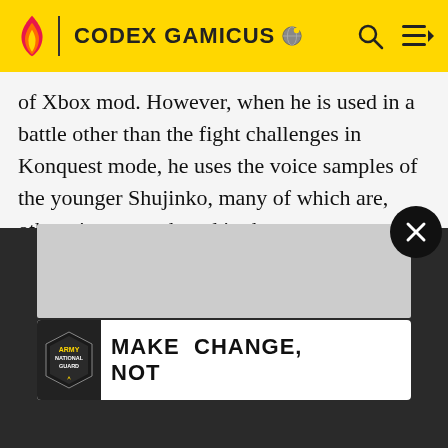CODEX GAMICUS
of Xbox mod. However, when he is used in a battle other than the fight challenges in Konquest mode, he uses the voice samples of the younger Shujinko, many of which are, otherwise, never heard in the game..
Tsung's Friendship in Mortal Kombat 3 turns him into a sprite from the arcade game Joust. He also has a joke picture in Deadly Alliance that promotes a foot-odor killer.
[Figure (infographic): Army National Guard advertisement banner reading MAKE CHANGE, NOT with logo]